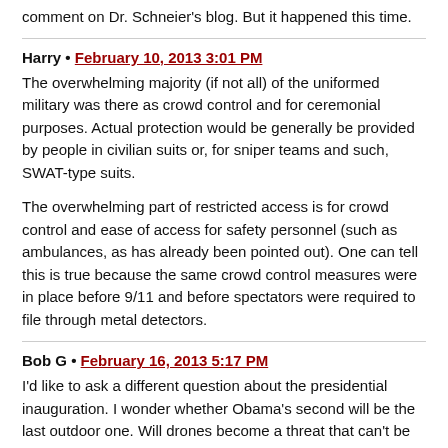comment on Dr. Schneier's blog. But it happened this time.
Harry • February 10, 2013 3:01 PM
The overwhelming majority (if not all) of the uniformed military was there as crowd control and for ceremonial purposes. Actual protection would be generally be provided by people in civilian suits or, for sniper teams and such, SWAT-type suits.
The overwhelming part of restricted access is for crowd control and ease of access for safety personnel (such as ambulances, as has already been pointed out). One can tell this is true because the same crowd control measures were in place before 9/11 and before spectators were required to file through metal detectors.
Bob G • February 16, 2013 5:17 PM
I'd like to ask a different question about the presidential inauguration. I wonder whether Obama's second will be the last outdoor one. Will drones become a threat that can't be defended against? I know nothing special about drones and